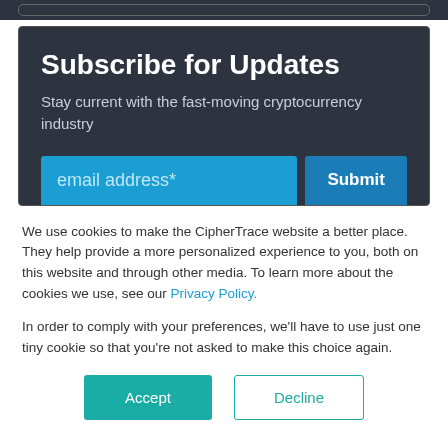Subscribe for Updates
Stay current with the fast-moving cryptocurrency industry
email address*
Submit
We use cookies to make the CipherTrace website a better place. They help provide a more personalized experience to you, both on this website and through other media. To learn more about the cookies we use, see our Privacy Policy.
In order to comply with your preferences, we'll have to use just one tiny cookie so that you're not asked to make this choice again.
Accept
Decline